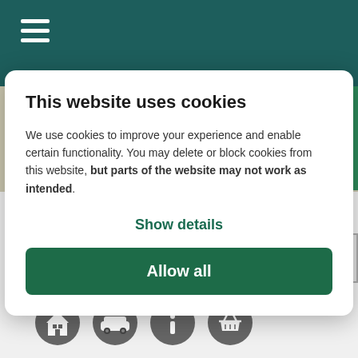[Figure (screenshot): Dark teal header bar with hamburger menu icon (three horizontal white lines)]
[Figure (map): Partial site plan map showing coloured housing plots with legend]
This website uses cookies
We use cookies to improve your experience and enable certain functionality. You may delete or block cookies from this website, but parts of the website may not work as intended.
Show details
Allow all
Amenities
Get Directions
[Figure (illustration): Four grey circular icons at bottom: house/building icon, car icon, information icon, shopping basket icon]